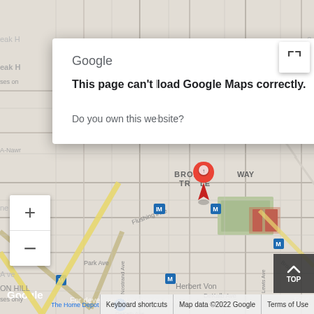[Figure (screenshot): Google Maps screenshot showing Brooklyn/BedStuy area with streets, SUMNER HOUSES label, Broadway Triangle area, subway markers, The Home Depot location, Flushing Ave, Park Ave, DeKalb Ave, Nostrand Ave, and other NYC streets. Map is in dark/gray theme.]
Google
This page can't load Google Maps correctly.
Do you own this website?
OK
Google
For development purposes only
Keyboard shortcuts
Map data ©2022 Google
Terms of Use